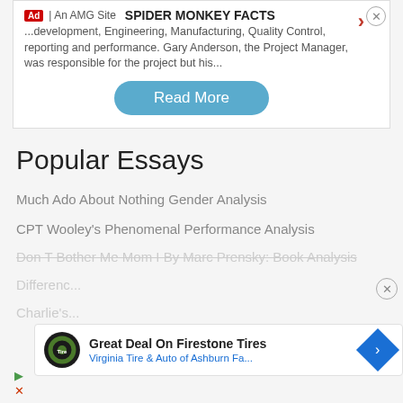SPIDER MONKEY FACTS | An AMG Site
...development, Engineering, Manufacturing, Quality Control, reporting and performance. Gary Anderson, the Project Manager, was responsible for the project but his...
Read More
Popular Essays
Much Ado About Nothing Gender Analysis
CPT Wooley's Phenomenal Performance Analysis
Personal Narrative: Tyron Samaroo
Don T Bother Me Mom I By Marc Prensky: Book Analysis
Differences...
Charlie's...
Great Deal On Firestone Tires
Virginia Tire & Auto of Ashburn Fa...